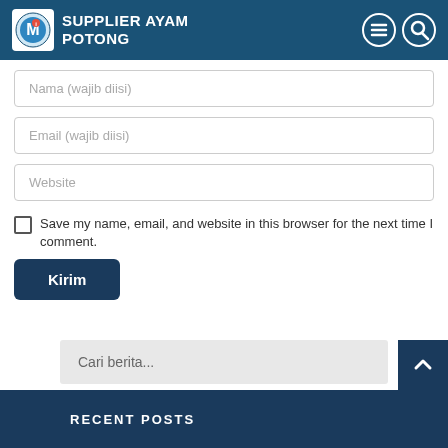SUPPLIER AYAM POTONG
Nama (wajib diisi)
Email (wajib diisi)
Website
Save my name, email, and website in this browser for the next time I comment.
Kirim
Cari berita...
RECENT POSTS